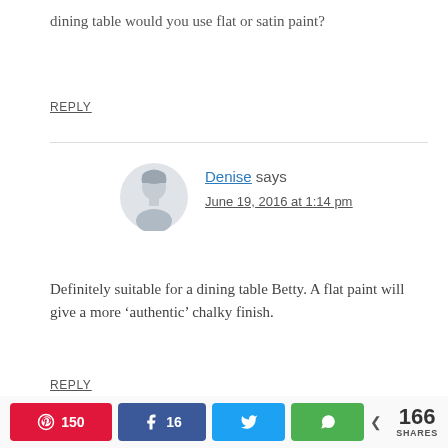dining table would you use flat or satin paint?
REPLY
Denise says
June 19, 2016 at 1:14 pm
Definitely suitable for a dining table Betty. A flat paint will give a more ‘authentic’ chalky finish.
REPLY
150  16  166 SHARES